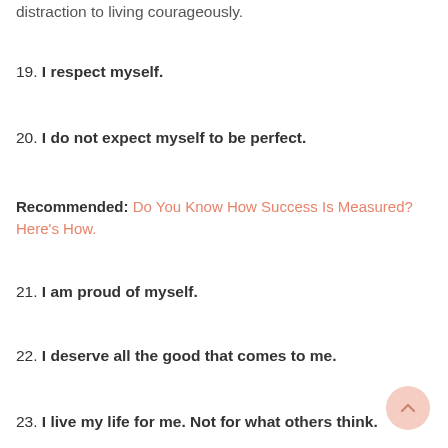distraction to living courageously.
19. I respect myself.
20. I do not expect myself to be perfect.
Recommended: Do You Know How Success Is Measured? Here's How.
21. I am proud of myself.
22. I deserve all the good that comes to me.
23. I live my life for me. Not for what others think.